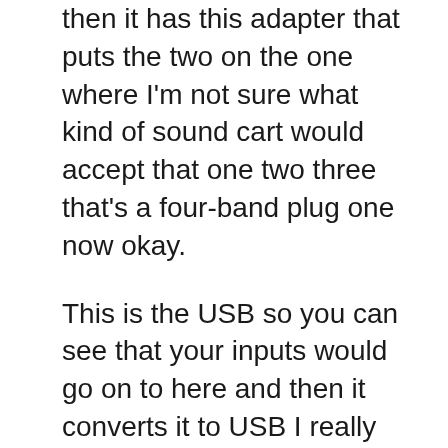then it has this adapter that puts the two on the one where I'm not sure what kind of sound cart would accept that one two three that's a four-band plug one now okay.
This is the USB so you can see that your inputs would go on to here and then it converts it to USB I really don't know if this is USB 2.0 or what it is I didn't really see that on the paperwork see.
What we'll say here is no I don't I don't see it right offhand but I'm